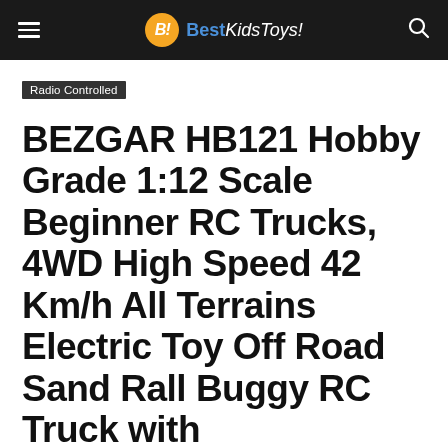BestKidsToys!
Radio Controlled
BEZGAR HB121 Hobby Grade 1:12 Scale Beginner RC Trucks, 4WD High Speed 42 Km/h All Terrains Electric Toy Off Road Sand Rall Buggy RC Truck with Rechargeable Batteries for Boys Kids and Adults
By Best Kids Toys - April 8, 2022  86